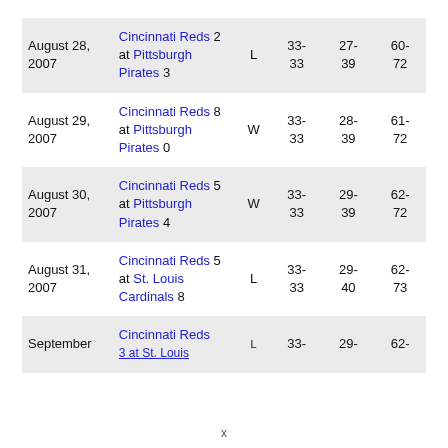| Date | Game | W/L | Col1 | Col2 | Col3 |
| --- | --- | --- | --- | --- | --- |
| August 28, 2007 | Cincinnati Reds 2 at Pittsburgh Pirates 3 | L | 33-33 | 27-39 | 60-72 |
| August 29, 2007 | Cincinnati Reds 8 at Pittsburgh Pirates 0 | W | 33-33 | 28-39 | 61-72 |
| August 30, 2007 | Cincinnati Reds 5 at Pittsburgh Pirates 4 | W | 33-33 | 29-39 | 62-72 |
| August 31, 2007 | Cincinnati Reds 5 at St. Louis Cardinals 8 | L | 33-33 | 29-40 | 62-73 |
| September | Cincinnati Reds 3 at St. Louis ... | L | 33- | 29- | 62- |
x